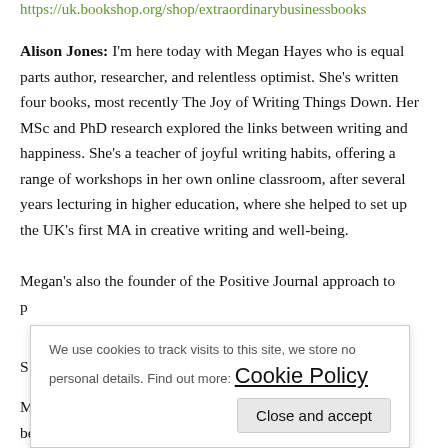https://uk.bookshop.org/shop/extraordinarybusinessbooks
Alison Jones: I'm here today with Megan Hayes who is equal parts author, researcher, and relentless optimist. She's written four books, most recently The Joy of Writing Things Down. Her MSc and PhD research explored the links between writing and happiness. She's a teacher of joyful writing habits, offering a range of workshops in her own online classroom, after several years lecturing in higher education, where she helped to set up the UK's first MA in creative writing and well-being.
Megan's also the founder of the Positive Journal approach to
p[partially hidden]
S[partially hidden]
M[partially hidden]
be here.
We use cookies to track visits to this site, we store no personal details. Find out more: Cookie Policy. Close and accept.